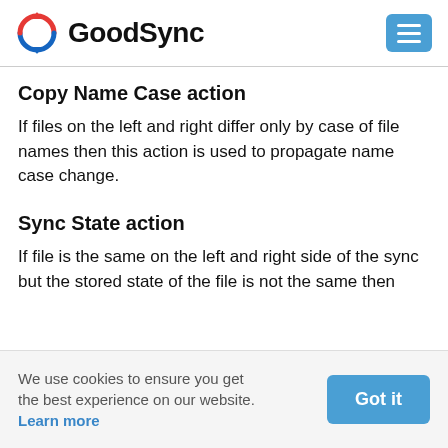GoodSync
Copy Name Case action
If files on the left and right differ only by case of file names then this action is used to propagate name case change.
Sync State action
If file is the same on the left and right side of the sync but the stored state of the file is not the same then
We use cookies to ensure you get the best experience on our website. Learn more